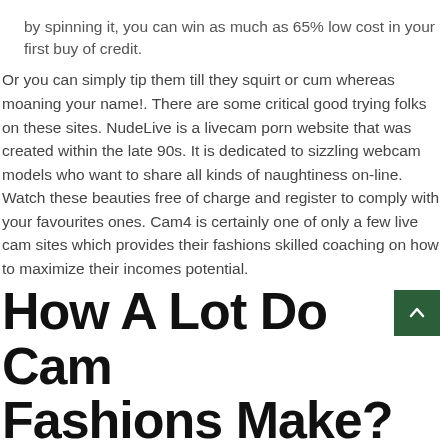by spinning it, you can win as much as 65% low cost in your first buy of credit.
Or you can simply tip them till they squirt or cum whereas moaning your name!. There are some critical good trying folks on these sites. NudeLive is a livecam porn website that was created within the late 90s. It is dedicated to sizzling webcam models who want to share all kinds of naughtiness on-line. Watch these beauties free of charge and register to comply with your favourites ones. Cam4 is certainly one of only a few live cam sites which provides their fashions skilled coaching on how to maximize their incomes potential.
How A Lot Do Cam Fashions Make?